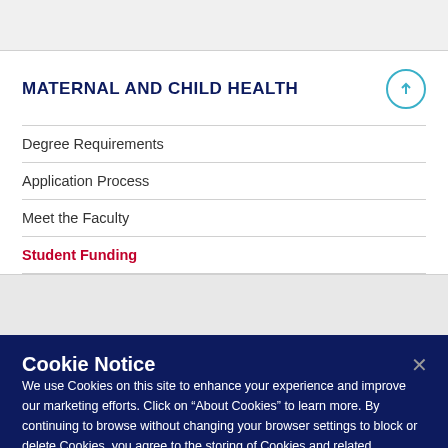MATERNAL AND CHILD HEALTH
Degree Requirements
Application Process
Meet the Faculty
Student Funding
Cookie Notice
We use Cookies on this site to enhance your experience and improve our marketing efforts. Click on “About Cookies” to learn more. By continuing to browse without changing your browser settings to block or delete Cookies, you agree to the storing of Cookies and related technologies on your device. University of Illinois System Cookie Policy